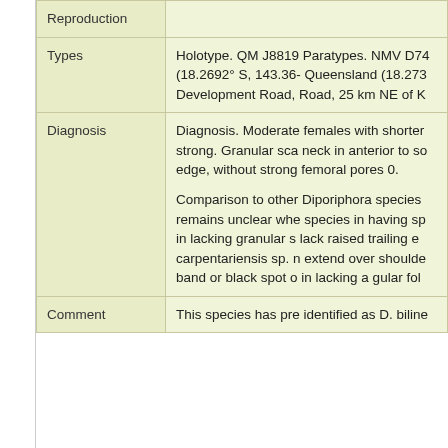| Category | Content |
| --- | --- |
| Reproduction |  |
| Types | Holotype. QM J8819 Paratypes. NMV D74 (18.2692° S, 143.36- Queensland (18.273 Development Road, Road, 25 km NE of K |
| Diagnosis | Diagnosis. Moderate females with shorter strong. Granular sca neck in anterior to so edge, without strong femoral pores 0.

Comparison to other Diporiphora species remains unclear whe species in having sp in lacking granular s lack raised trailing e carpentariensis sp. n extend over shoulde band or black spot o in lacking a gular fol |
| Comment | This species has pre identified as D. biline |